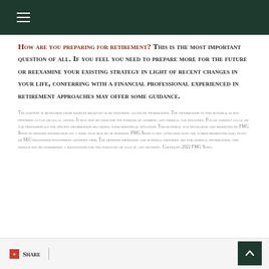HOW ARE YOU PREPARING FOR RETIREMENT? THIS IS THE MOST IMPORTANT QUESTION OF ALL. IF YOU FEEL YOU NEED TO PREPARE MORE FOR THE FUTURE OR REEXAMINE YOUR EXISTING STRATEGY IN LIGHT OF RECENT CHANGES IN YOUR LIFE, CONFERRING WITH A FINANCIAL PROFESSIONAL EXPERIENCED IN RETIREMENT APPROACHES MAY OFFER SOME GUIDANCE.
The content is developed from sources believed to be providing accurate information. The information in this material is not intended as tax or legal advice. It may not be used for the purpose of avoiding any federal tax penalties. Please consult legal or tax professionals for specific information regarding your individual situation. This material was developed and produced by FMG Suite to provide information on a topic that may be of interest. FMG Suite is not affiliated with the named broker-dealer, state- or SEC-registered investment advisory firm. The opinions expressed and material provided are for general information, and should not be considered a solicitation for the purchase or sale of any security. Copyright 2022 FMG Suite.
Share